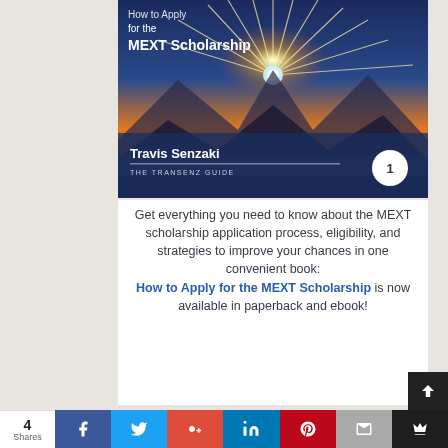[Figure (illustration): Book cover for 'How to Apply for the MEXT Scholarship' by Travis Senzaki, The Transenz Guide. Features a mountain landscape at sunrise with orange and blue tones, white title text, and a circular badge with '1'.]
Get everything you need to know about the MEXT scholarship application process, eligibility, and strategies to improve your chances in one convenient book: How to Apply for the MEXT Scholarship is now available in paperback and ebook!
4 Shares | Facebook | Twitter | Google+ | LinkedIn | Pinterest | Email | Share